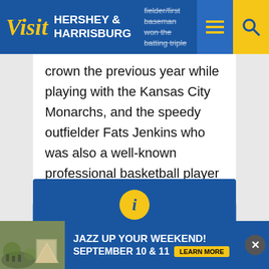Visit Hershey & Harrisburg
fielder/first baseman won the batting triple crown the previous year while playing with the Kansas City Monarchs, and the speedy outfielder Fats Jenkins who was also a well-known professional basketball player and member of the New York Rens.
Cookies are used for optimization and tracking. By continuing to use our site you agree to our privacy policy.
Accept & Dismiss
JAZZ UP YOUR WEEKEND! SEPTEMBER 10 & 11 LEARN MORE